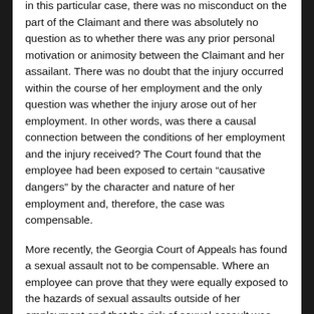in this particular case, there was no misconduct on the part of the Claimant and there was absolutely no question as to whether there was any prior personal motivation or animosity between the Claimant and her assailant. There was no doubt that the injury occurred within the course of her employment and the only question was whether the injury arose out of her employment. In other words, was there a causal connection between the conditions of her employment and the injury received? The Court found that the employee had been exposed to certain “causative dangers” by the character and nature of her employment and, therefore, the case was compensable.
More recently, the Georgia Court of Appeals has found a sexual assault not to be compensable. Where an employee can prove that they were equally exposed to the hazards of sexual assaults outside of her employment and that the risk of sexual assault was unconnected with the responsibilities of the employment, the employee may be able to successfully pursue a tort action. See Kennedy v. Pine Land State Bank, 21l Ga.App. 375, 439 S.E.2d 106 (1993). In this case, the Claimant was sexually assaulted by a member of the employer’s Board of Directors. The